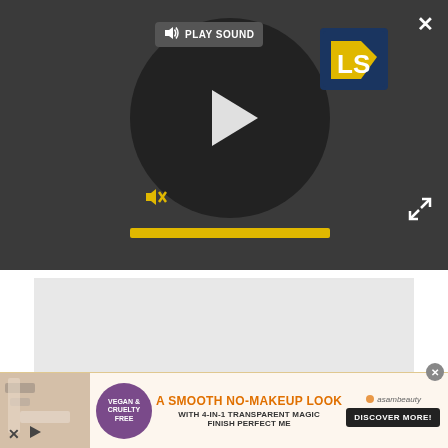[Figure (screenshot): Video player overlay on dark background with play button, PLAY SOUND label, LS logo, mute button, and yellow progress bar. Close (X) button top right, expand arrows bottom right.]
According to the company, the app is recommended for women ages 20 to 40 who are in a stable
[Figure (screenshot): Advertisement banner: 'A SMOOTH NO-MAKEUP LOOK WITH 4-IN-1 TRANSPARENT MAGIC FINISH PERFECT ME' by asambeauty, with VEGAN & CRUELTY FREE badge and DISCOVER MORE! button.]